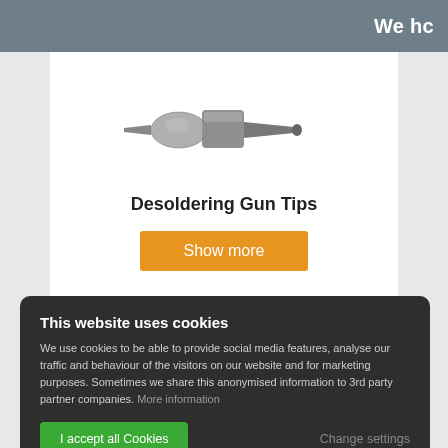We hc
[Figure (photo): A metal desoldering gun tip — cylindrical silver-gray metal piece with a square/hexagonal middle section and a narrow nozzle end]
Desoldering Gun Tips
Show more
This website uses cookies
We use cookies to be able to provide social media features, analyse our traffic and behaviour of the visitors on our website and for marketing purposes. Sometimes we share this anonymised information to 3rd party partner companies. More information
I accept all Cookies
Change settings
Desoldering & Reworking Tools